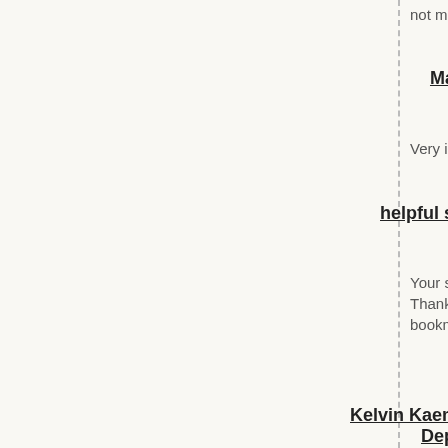not more popula
Manifesting
Very informative
helpful site
Your style is uni Thanks for posti bookmark this b
Kelvin Kaemingk Loan Depot
Very good blog.
palomos
Si la causa es fi una erección al
Kelvin Kaemingk
This is one awe
ขอบคุณ ขอบคุณ
A fascinating dis There's no doub not be a taboo s but generally